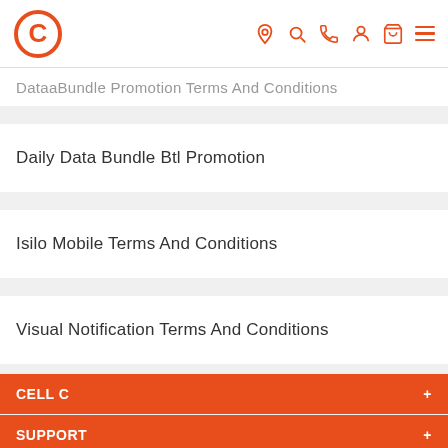Cell C website header with logo and navigation icons
DataaBundle Promotion Terms And Conditions (partially visible)
Daily Data Bundle Btl Promotion
Isilo Mobile Terms And Conditions
Visual Notification Terms And Conditions
CELL C +
SUPPORT +
WORLD OF CELL C +